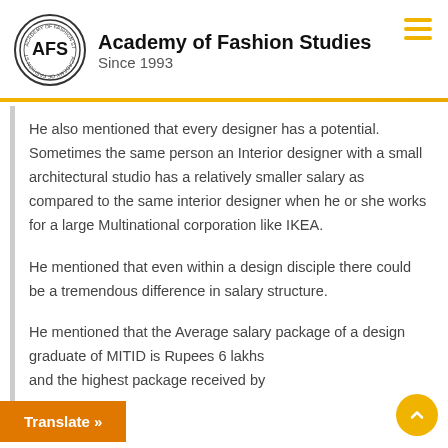Academy of Fashion Studies Since 1993
He also mentioned that every designer has a potential. Sometimes the same person an Interior designer with a small architectural studio has a relatively smaller salary as compared to the same interior designer when he or she works for a large Multinational corporation like IKEA.
He mentioned that even within a design disciple there could be a tremendous difference in salary structure.
He mentioned that the Average salary package of a design graduate of MITID is Rupees 6 lakhs and the highest package received by